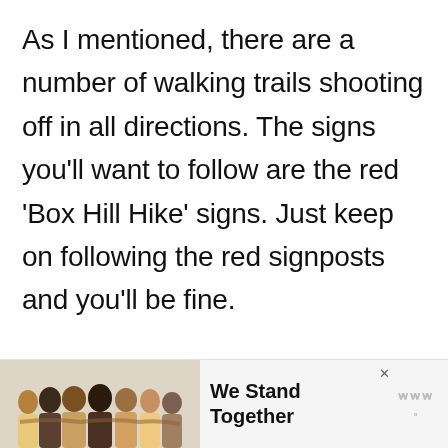As I mentioned, there are a number of walking trails shooting off in all directions. The signs you'll want to follow are the red 'Box Hill Hike' signs. Just keep on following the red signposts and you'll be fine.
[Figure (infographic): Advertisement banner at the bottom of the page showing a group of people with arms around each other (backs to camera), with text 'We Stand Together' and a logo to the right. An X close button is visible top right of the ad.]